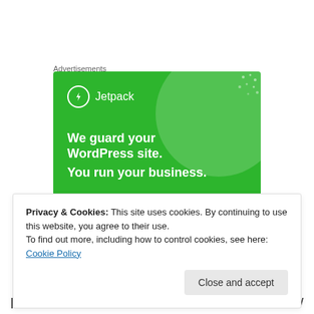Advertisements
[Figure (illustration): Jetpack advertisement banner with green background. Shows Jetpack logo (lightning bolt icon in circle) and text: 'We guard your WordPress site. You run your business.']
Privacy & Cookies: This site uses cookies. By continuing to use this website, you agree to their use.
To find out more, including how to control cookies, see here: Cookie Policy
Close and accept
problems here with birds and anything we grow